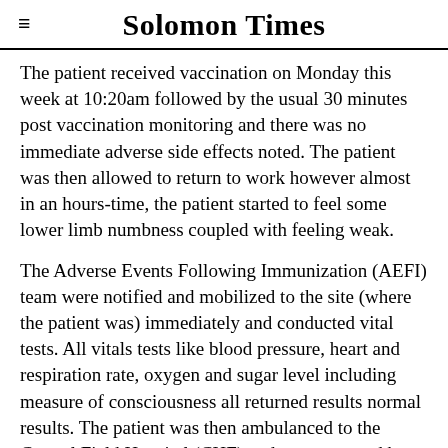Solomon Times
The patient received vaccination on Monday this week at 10:20am followed by the usual 30 minutes post vaccination monitoring and there was no immediate adverse side effects noted. The patient was then allowed to return to work however almost in an hours-time, the patient started to feel some lower limb numbness coupled with feeling weak.
The Adverse Events Following Immunization (AEFI) team were notified and mobilized to the site (where the patient was) immediately and conducted vital tests. All vitals tests like blood pressure, heart and respiration rate, oxygen and sugar level including measure of consciousness all returned results normal results. The patient was then ambulanced to the Central Field Hospital (CHF) and was managed by medical staff.
Nevertheless, the patient continued to express